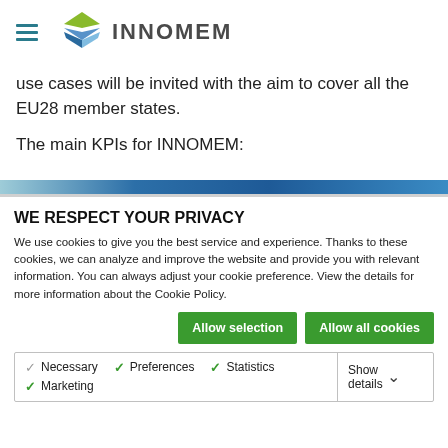INNOMEM (logo/navigation header)
use cases will be invited with the aim to cover all the EU28 member states.
The main KPIs for INNOMEM:
WE RESPECT YOUR PRIVACY
We use cookies to give you the best service and experience. Thanks to these cookies, we can analyze and improve the website and provide you with relevant information. You can always adjust your cookie preference. View the details for more information about the Cookie Policy.
Allow selection | Allow all cookies
Necessary  Preferences  Statistics  Marketing  Show details